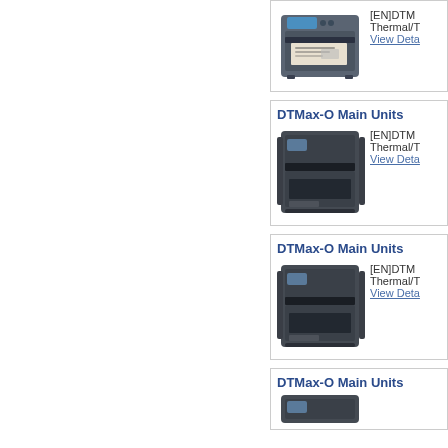[Figure (photo): Industrial thermal transfer printer (top card, no section title visible, grey printer with label)]
[EN]DTM... Thermal/T... View Deta...
DTMax-O Main Units
[Figure (photo): Industrial thermal transfer printer DTMax-O, dark grey, front-open view]
[EN]DTM... Thermal/T... View Deta...
DTMax-O Main Units
[Figure (photo): Industrial thermal transfer printer DTMax-O, dark grey, front-open view, second unit]
[EN]DTM... Thermal/T... View Deta...
DTMax-O Main Units